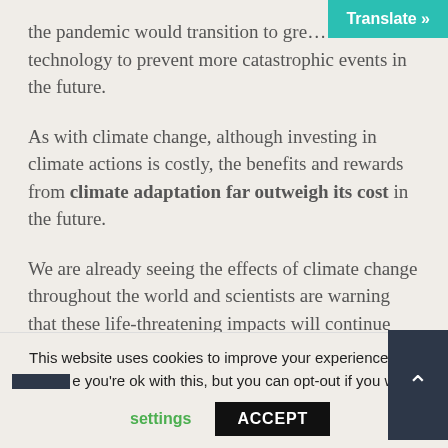the pandemic would transition to gre… renewable technology to prevent more catastrophic events in the future.
As with climate change, although investing in climate actions is costly, the benefits and rewards from climate adaptation far outweigh its cost in the future.
We are already seeing the effects of climate change throughout the world and scientists are warning that these life-threatening impacts will continue unless more ambitious and serious climate actions are taken immediately.
This website uses cookies to improve your experience. We… you're ok with this, but you can opt-out if you wish.
settings    ACCEPT